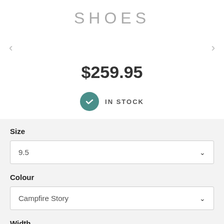SHOES
$259.95
IN STOCK
Size
9.5
Colour
Campfire Story
Width